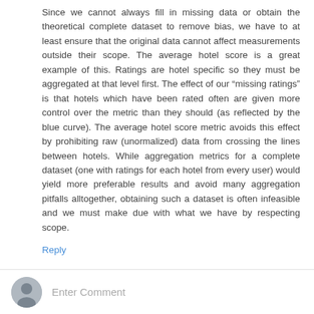Since we cannot always fill in missing data or obtain the theoretical complete dataset to remove bias, we have to at least ensure that the original data cannot affect measurements outside their scope. The average hotel score is a great example of this. Ratings are hotel specific so they must be aggregated at that level first. The effect of our “missing ratings” is that hotels which have been rated often are given more control over the metric than they should (as reflected by the blue curve). The average hotel score metric avoids this effect by prohibiting raw (unormalized) data from crossing the lines between hotels. While aggregation metrics for a complete dataset (one with ratings for each hotel from every user) would yield more preferable results and avoid many aggregation pitfalls alltogether, obtaining such a dataset is often infeasible and we must make due with what we have by respecting scope.
Reply